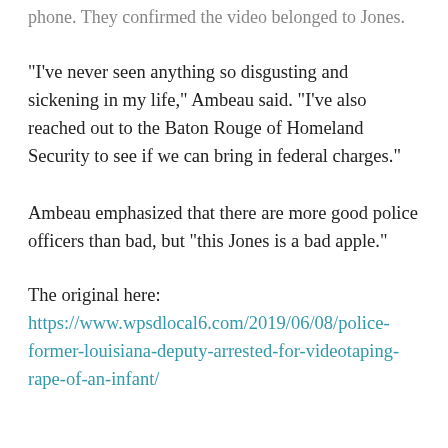phone. They confirmed the video belonged to Jones.
"I've never seen anything so disgusting and sickening in my life," Ambeau said. "I've also reached out to the Baton Rouge of Homeland Security to see if we can bring in federal charges."
Ambeau emphasized that there are more good police officers than bad, but “this Jones is a bad apple.”
The original here:
https://www.wpsdlocal6.com/2019/06/08/police-former-louisiana-deputy-arrested-for-videotaping-rape-of-an-infant/